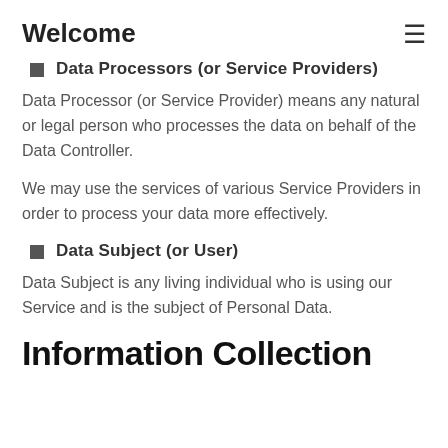Welcome
Data Processors (or Service Providers)
Data Processor (or Service Provider) means any natural or legal person who processes the data on behalf of the Data Controller.
We may use the services of various Service Providers in order to process your data more effectively.
Data Subject (or User)
Data Subject is any living individual who is using our Service and is the subject of Personal Data.
Information Collection